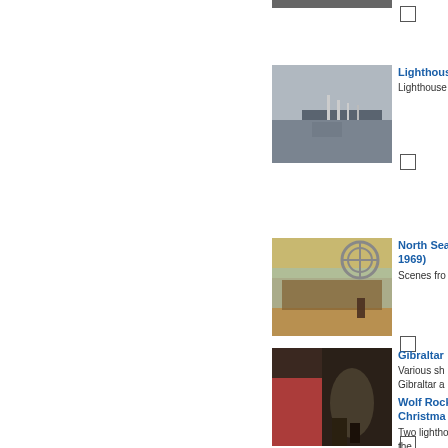[Figure (photo): Black and white image of a harbor with sailboats and a pier]
Lighthouse
Lighthouse
[Figure (photo): Outdoor scene with ferris wheel and market stalls at dusk]
North Sea... 1969)
Scenes from...
[Figure (photo): Dark image showing an elephant near a building in Gibraltar]
Gibraltar
Various shots Gibraltar and...
Wolf Rock Christmas
Two lighthouses the...